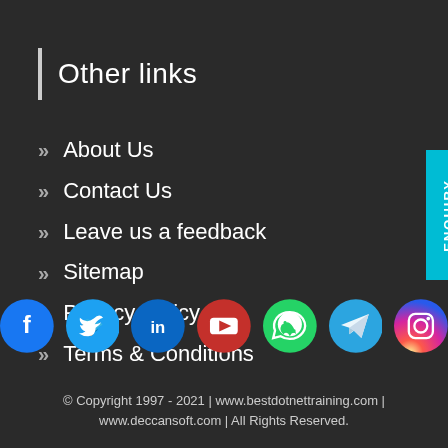Other links
About Us
Contact Us
Leave us a feedback
Sitemap
Privacy Policy
Terms & Conditions
[Figure (infographic): Social media icons row: Facebook, Twitter, LinkedIn, YouTube, WhatsApp, Telegram, Instagram]
© Copyright 1997 - 2021 | www.bestdotnettraining.com | www.deccansoft.com | All Rights Reserved.